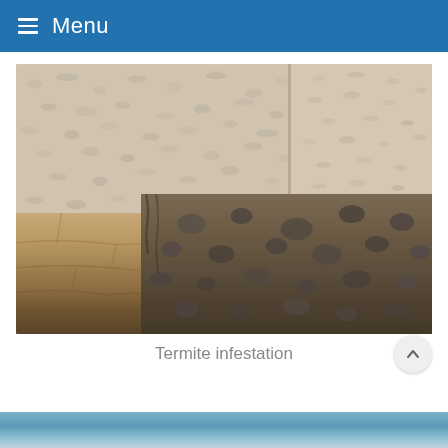≡ Menu
[Figure (photo): Photograph of termite infestation damage at the base of a stucco exterior wall, showing the foundation area with rocks and sandy soil ground, corner view of building exterior]
Termite infestation
[Figure (photo): Partial view of another photograph at the bottom of the page, showing what appears to be a metal roof or similar structure]